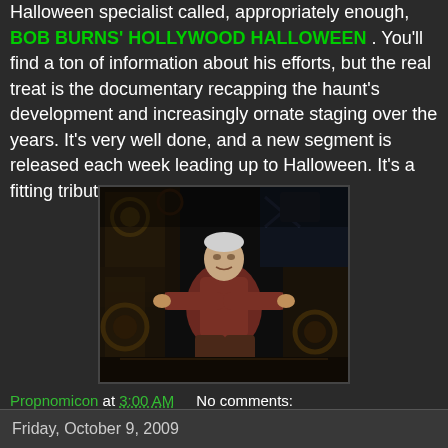Halloween specialist called, appropriately enough, BOB BURNS' HOLLYWOOD HALLOWEEN . You'll find a ton of information about his efforts, but the real treat is the documentary recapping the haunt's development and increasingly ornate staging over the years. It's very well done, and a new segment is released each week leading up to Halloween. It's a fitting tribute to a great man.
[Figure (photo): An elderly man seated in an elaborate mechanical/gothic throne or prop installation, surrounded by dark industrial and decorative elements. Photo appears to be from a Halloween haunted house display.]
Propnomicon at 3:00 AM    No comments:
Friday, October 9, 2009